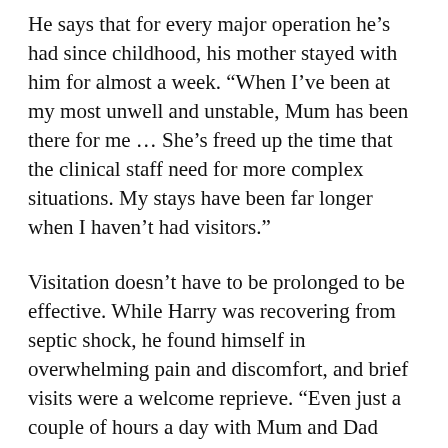He says that for every major operation he's had since childhood, his mother stayed with him for almost a week. “When I've been at my most unwell and unstable, Mum has been there for me … She’s freed up the time that the clinical staff need for more complex situations. My stays have been far longer when I haven’t had visitors.”
Visitation doesn’t have to be prolonged to be effective. While Harry was recovering from septic shock, he found himself in overwhelming pain and discomfort, and brief visits were a welcome reprieve. “Even just a couple of hours a day with Mum and Dad were enough to take my mind away from it,” he says. “Just for a little bit.”
Louise, a Sydney teacher, can relate to the visitor